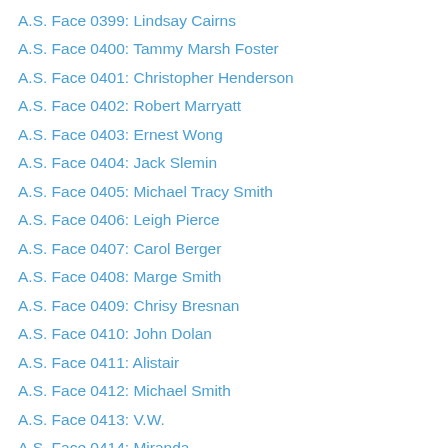A.S. Face 0399: Lindsay Cairns
A.S. Face 0400: Tammy Marsh Foster
A.S. Face 0401: Christopher Henderson
A.S. Face 0402: Robert Marryatt
A.S. Face 0403: Ernest Wong
A.S. Face 0404: Jack Slemin
A.S. Face 0405: Michael Tracy Smith
A.S. Face 0406: Leigh Pierce
A.S. Face 0407: Carol Berger
A.S. Face 0408: Marge Smith
A.S. Face 0409: Chrisy Bresnan
A.S. Face 0410: John Dolan
A.S. Face 0411: Alistair
A.S. Face 0412: Michael Smith
A.S. Face 0413: V.W.
A.S. Face 0414: Miranda
A.S. Face 0415: Scott Cannon
A.S. Face 0416: Viktor Romet
A.S. Face 0417: Enn Romet
A.S. Face 0418: Root Romet